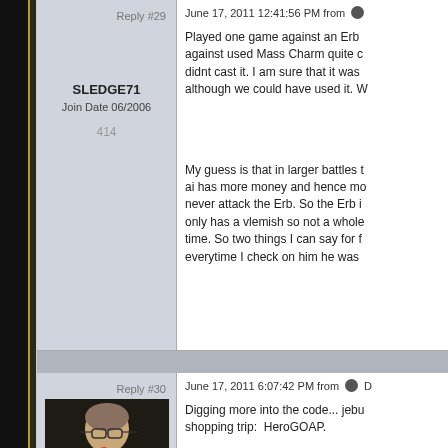Reply #29
June 17, 2011 12:41:56 PM from
Played one game against an Erb against used Mass Charm quite c didnt cast it. I am sure that it was although we could have used it. W
SLEDGE71
Join Date 06/2006
414
My guess is that in larger battles ai has more money and hence mo never attack the Erb. So the Erb i only has a vlemish so not a whole time. So two things I can say for f everytime I check on him he was
Reply #30
June 17, 2011 6:07:42 PM from
[Figure (photo): Profile photo of a person wearing glasses, partially obscured, with a red microphone visible]
Digging more into the code... jebu shopping trip:  HeroGOAP.